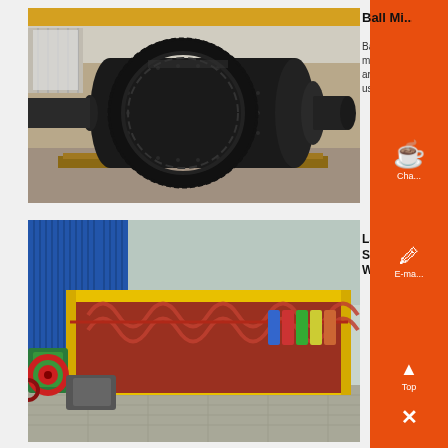[Figure (photo): Large black ball mill machine with gear ring, sitting on wooden pallets inside an industrial warehouse with yellow crane visible in background.]
Ball Mill
Ball mills are used
[Figure (photo): LSX Sand Washing Machine - yellow trough with red auger/screw conveyor spiral blades, blue corrugated metal wall background, with green motor/gearbox at left end.]
LSX Sand Washing
Chat
E-ma
Top